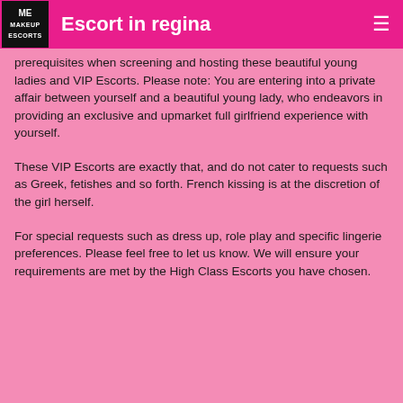Escort in regina
prerequisites when screening and hosting these beautiful young ladies and VIP Escorts. Please note: You are entering into a private affair between yourself and a beautiful young lady, who endeavors in providing an exclusive and upmarket full girlfriend experience with yourself.
These VIP Escorts are exactly that, and do not cater to requests such as Greek, fetishes and so forth. French kissing is at the discretion of the girl herself.
For special requests such as dress up, role play and specific lingerie preferences. Please feel free to let us know. We will ensure your requirements are met by the High Class Escorts you have chosen.